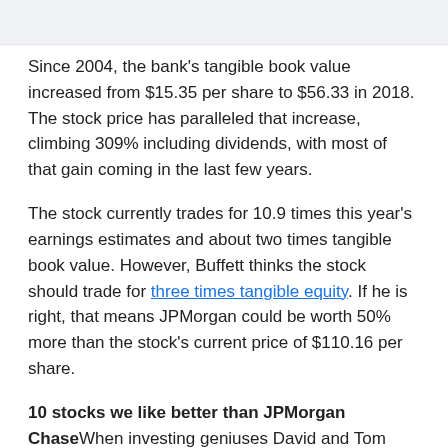Since 2004, the bank's tangible book value increased from $15.35 per share to $56.33 in 2018. The stock price has paralleled that increase, climbing 309% including dividends, with most of that gain coming in the last few years.
The stock currently trades for 10.9 times this year's earnings estimates and about two times tangible book value. However, Buffett thinks the stock should trade for three times tangible equity. If he is right, that means JPMorgan could be worth 50% more than the stock's current price of $110.16 per share.
10 stocks we like better than JPMorgan ChaseWhen investing geniuses David and Tom Gardner have a stock tip, it can pay to listen. After all, the newsletter they have run for over a decade, Motley Fool Stock Advisor, has quadrupled the market.*